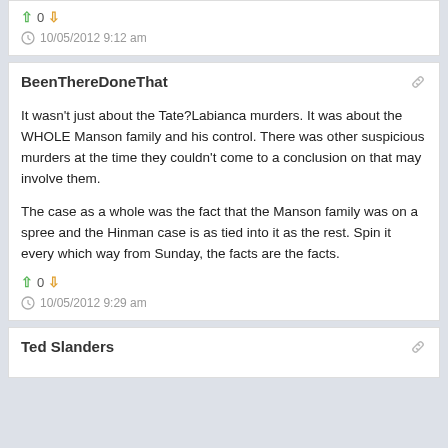↑ 0 ↓
10/05/2012 9:12 am
BeenThereDoneThat
It wasn't just about the Tate?Labianca murders. It was about the WHOLE Manson family and his control. There was other suspicious murders at the time they couldn't come to a conclusion on that may involve them.

The case as a whole was the fact that the Manson family was on a spree and the Hinman case is as tied into it as the rest. Spin it every which way from Sunday, the facts are the facts.
↑ 0 ↓
10/05/2012 9:29 am
Ted Slanders